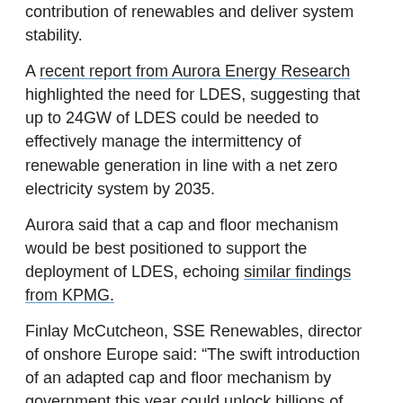contribution of renewables and deliver system stability.
A recent report from Aurora Energy Research highlighted the need for LDES, suggesting that up to 24GW of LDES could be needed to effectively manage the intermittency of renewable generation in line with a net zero electricity system by 2035.
Aurora said that a cap and floor mechanism would be best positioned to support the deployment of LDES, echoing similar findings from KPMG.
Finlay McCutcheon, SSE Renewables, director of onshore Europe said: “The swift introduction of an adapted cap and floor mechanism by government this year could unlock billions of pounds of investment in these vital technologies and create thousands of skilled jobs.”
In a cap and floor mechanism, revenues or margins are subject to minimum and maximum levels. Below the ‘floor’